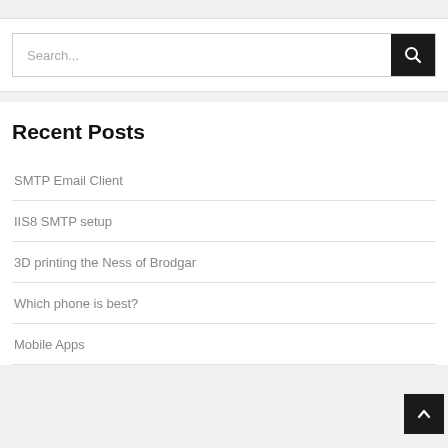[Figure (screenshot): Search bar with text input field and black search button with magnifying glass icon]
Recent Posts
SMTP Email Client
IIS8 SMTP setup
3D printing the Ness of Brodgar
Which phone is best?
Mobile Apps